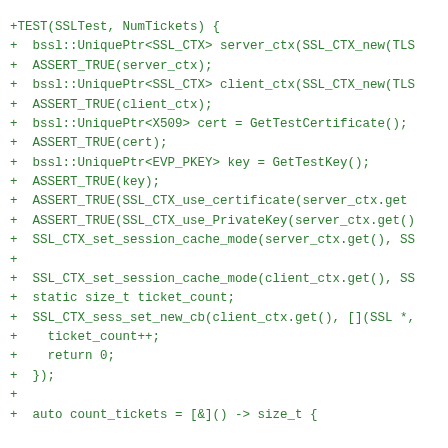+TEST(SSLTest, NumTickets) {
+  bssl::UniquePtr<SSL_CTX> server_ctx(SSL_CTX_new(TLS
+  ASSERT_TRUE(server_ctx);
+  bssl::UniquePtr<SSL_CTX> client_ctx(SSL_CTX_new(TLS
+  ASSERT_TRUE(client_ctx);
+  bssl::UniquePtr<X509> cert = GetTestCertificate();
+  ASSERT_TRUE(cert);
+  bssl::UniquePtr<EVP_PKEY> key = GetTestKey();
+  ASSERT_TRUE(key);
+  ASSERT_TRUE(SSL_CTX_use_certificate(server_ctx.get
+  ASSERT_TRUE(SSL_CTX_use_PrivateKey(server_ctx.get()
+  SSL_CTX_set_session_cache_mode(server_ctx.get(), SS
+
+  SSL_CTX_set_session_cache_mode(client_ctx.get(), SS
+  static size_t ticket_count;
+  SSL_CTX_sess_set_new_cb(client_ctx.get(), [](SSL *,
+    ticket_count++;
+    return 0;
+  });
+
+  auto count_tickets = [&]() -> size_t {